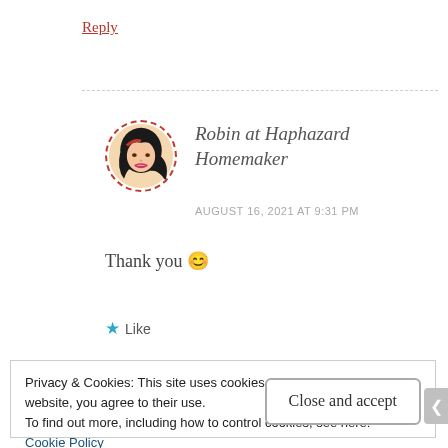Reply
[Figure (illustration): Circular avatar of Robin at Haphazard Homemaker with dashed red border, showing animated woman with dark hair]
Robin at Haphazard Homemaker
AUGUST 16, 2021 AT 9:31 PM
Thank you 😊
★ Like
Privacy & Cookies: This site uses cookies. By continuing to use this website, you agree to their use.
To find out more, including how to control cookies, see here:
Cookie Policy
Close and accept